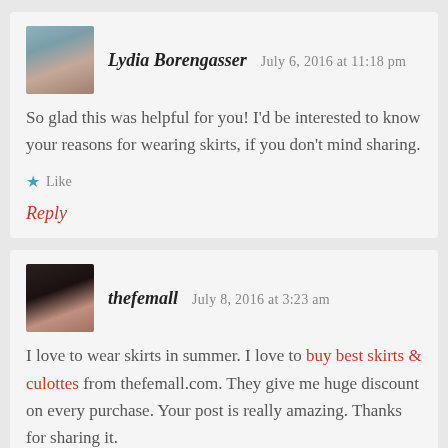Lydia Borengasser   July 6, 2016 at 11:18 pm
So glad this was helpful for you! I'd be interested to know your reasons for wearing skirts, if you don't mind sharing.
Like
Reply
thefemall   July 8, 2016 at 3:23 am
I love to wear skirts in summer. I love to buy best skirts & culottes from thefemall.com. They give me huge discount on every purchase. Your post is really amazing. Thanks for sharing it.